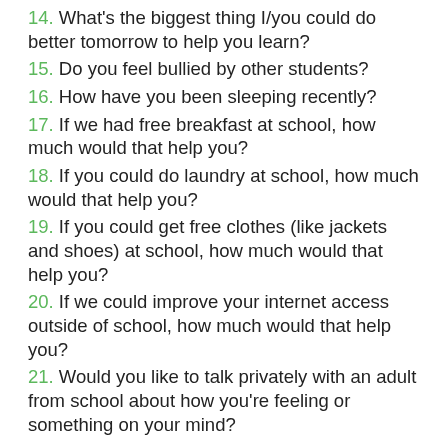14. What's the biggest thing I/you could do better tomorrow to help you learn?
15. Do you feel bullied by other students?
16. How have you been sleeping recently?
17. If we had free breakfast at school, how much would that help you?
18. If you could do laundry at school, how much would that help you?
19. If you could get free clothes (like jackets and shoes) at school, how much would that help you?
20. If we could improve your internet access outside of school, how much would that help you?
21. Would you like to talk privately with an adult from school about how you're feeling or something on your mind?